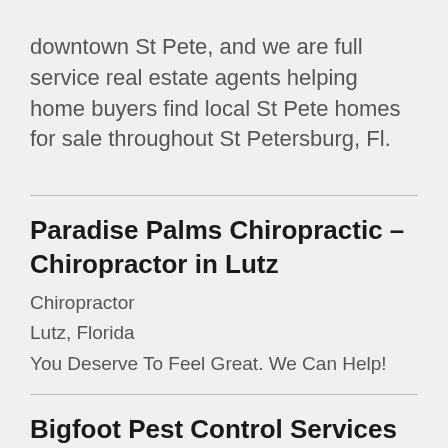downtown St Pete, and we are full service real estate agents helping home buyers find local St Pete homes for sale throughout St Petersburg, Fl.
Paradise Palms Chiropractic – Chiropractor in Lutz
Chiropractor
Lutz, Florida
You Deserve To Feel Great. We Can Help!
Bigfoot Pest Control Services
Pest control service
Itasca, Illinois